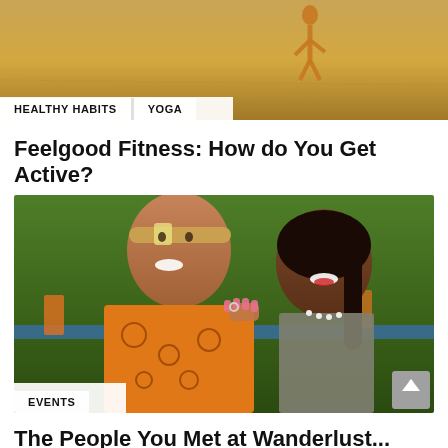[Figure (photo): Sandy beach or desert background with a person figure, partial view at top of page]
HEALTHY HABITS   YOGA
Feelgood Fitness: How do You Get Active?
[Figure (photo): Two smiling people at an outdoor event — a man in an orange patterned shirt with a headband and a woman with dark hair and red lipstick]
EVENTS
The People You Met at Wanderlust...